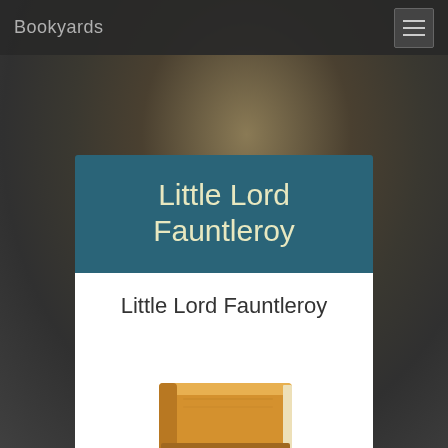Bookyards
Little Lord Fauntleroy
Little Lord Fauntleroy
[Figure (illustration): Stack of two orange/brown books icon]